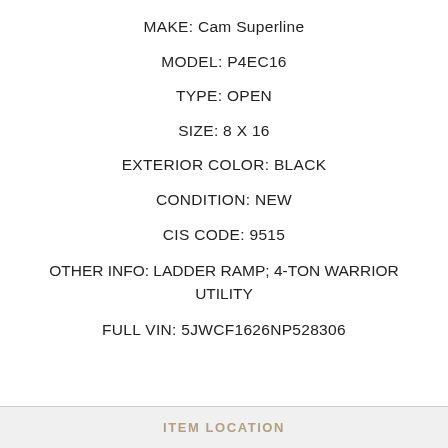MAKE: Cam Superline
MODEL: P4EC16
TYPE: OPEN
SIZE: 8 X 16
EXTERIOR COLOR: BLACK
CONDITION: NEW
CIS CODE: 9515
OTHER INFO: LADDER RAMP; 4-TON WARRIOR UTILITY
FULL VIN: 5JWCF1626NP528306
ITEM LOCATION